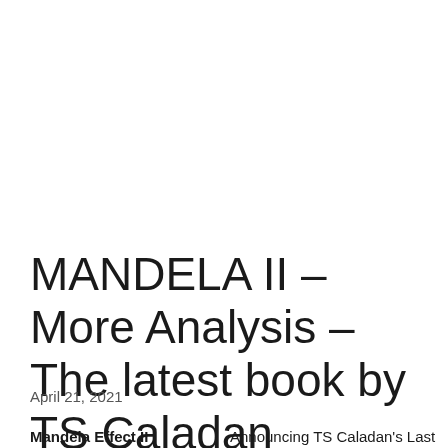MANDELA II – More Analysis – The latest book by TS Caladan
April 21, 2021
Mandela Effect II
Announcing TS Caladan's Last